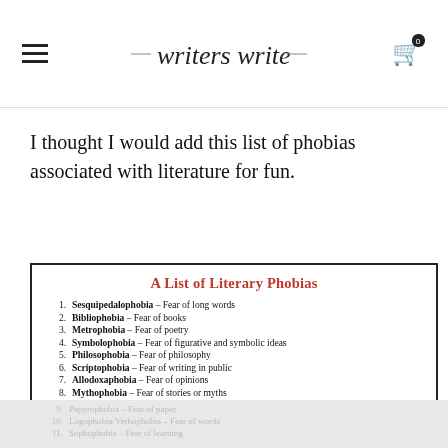writers write
I thought I would add this list of phobias associated with literature for fun.
[Figure (infographic): A bordered list titled 'A List of Literary Phobias' containing numbered phobias related to writing and literature, with items 1-8 visible clearly and items 9-11 shown faded as a reflection below]
1. Sesquipedalophobia – Fear of long words
2. Bibliophobia – Fear of books
3. Metrophobia – Fear of poetry
4. Symbolophobia – Fear of figurative and symbolic ideas
5. Philosophobia – Fear of philosophy
6. Scriptophobia – Fear of writing in public
7. Allodoxaphobia – Fear of opinions
8. Mythophobia – Fear of stories or myths
9. Papyrophobia – Fear of paper
10. Logophobia/Verbophobia – Fear of words
11. Sophophobia – Fear of learning